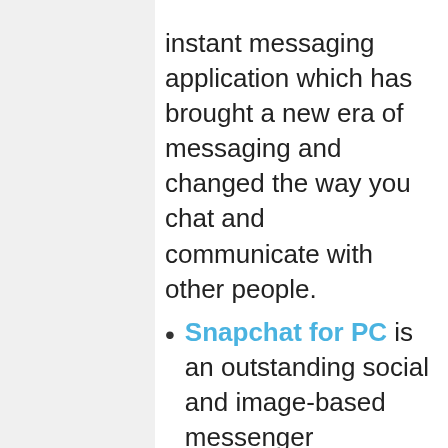instant messaging application which has brought a new era of messaging and changed the way you chat and communicate with other people.
Snapchat for PC is an outstanding social and image-based messenger application that will clearly convey things you feel in the form of photos which gets self-deleted automatically.
WeChat for PC is an attractive messaging and calling social media app, and it lets you chat through